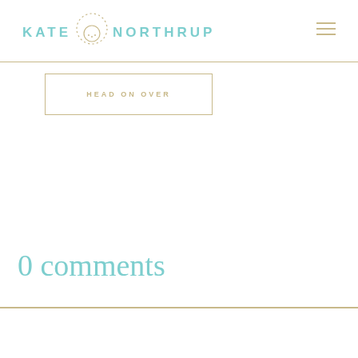KATE NORTHRUP
HEAD ON OVER
0 comments